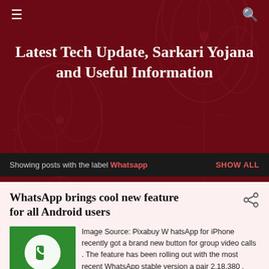≡  🔍
Latest Tech Update, Sarkari Yojana and Useful Information
Showing posts with the label Whatsapp   SHOW ALL
WhatsApp brings cool new feature for all Android users
[Figure (photo): WhatsApp app icon on a smartphone — green speech bubble with phone icon, 'WhatsApp' text label at bottom]
Image Source: Pixabuy W hatsApp for iPhone recently got a brand new button for group video calls . The feature has been rolling out with the most recent WhatsApp stable version a pair 2.18.380 . However,  ...